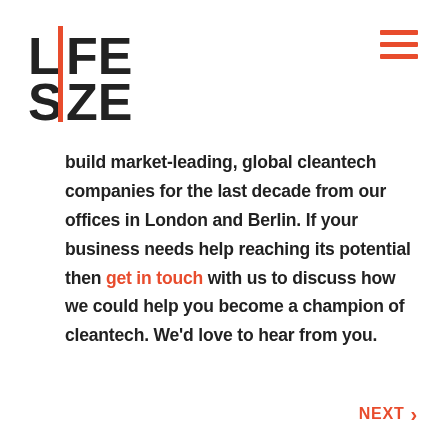[Figure (logo): LIFE SIZE logo in bold black text with orange vertical bars between L and I, and S and I]
[Figure (illustration): Hamburger menu icon with three orange horizontal bars]
build market-leading, global cleantech companies for the last decade from our offices in London and Berlin. If your business needs help reaching its potential then get in touch with us to discuss how we could help you become a champion of cleantech. We'd love to hear from you.
NEXT >